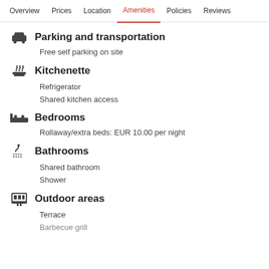Overview  Prices  Location  Amenities  Policies  Reviews
Parking and transportation
Free self parking on site
Kitchenette
Refrigerator
Shared kitchen access
Bedrooms
Rollaway/extra beds: EUR 10.00 per night
Bathrooms
Shared bathroom
Shower
Outdoor areas
Terrace
Barbecue grill